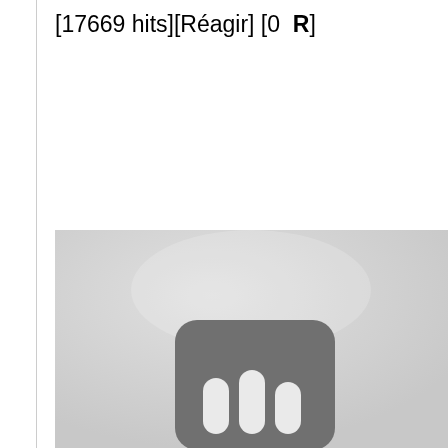[17669 hits][Réagir] [0  R]
[Figure (photo): Grayscale image with a rounded rectangle icon in dark gray on a light gray background, showing three white rounded vertical bars/columns inside the icon (resembling a bar chart or signal icon). The image is cropped at the bottom.]